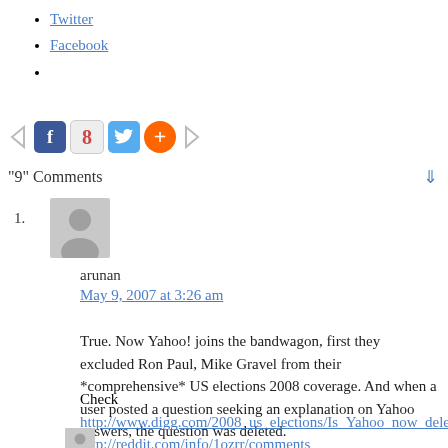Twitter
Facebook
[Figure (other): Social sharing bar with left arrow, Facebook icon, Google icon, Twitter icon, plus/add icon, right arrow]
"9" Comments
1.
[Figure (photo): Generic user avatar silhouette, grey]
arunan
May 9, 2007 at 3:26 am
True. Now Yahoo! joins the bandwagon, first they excluded Ron Paul, Mike Gravel from their *comprehensive* US elections 2008 coverage. And when a user posted a question seeking an explanation on Yahoo answers, the question was deleted.
Check
http://www.digg.com/2008_us_elections/Is_Yahoo_now_delet
http://reddit.com/info/1ozrr/comments
[Figure (photo): Generic user avatar silhouette, grey, partial view at bottom]